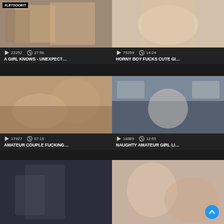[Figure (screenshot): Video thumbnail grid showing adult video website content with thumbnails, view counts, durations, and titles]
22252 | 27:56 | A GIRL KNOWS - UNEXPECT...
75259 | 14:24 | HORNY BOY FUCKS CUTE GI...
17927 | 07:18 | AMATEUR COUPLE FUCKING...
18869 | 12:55 | NAUGHTY AMATEUR GIRL LI...